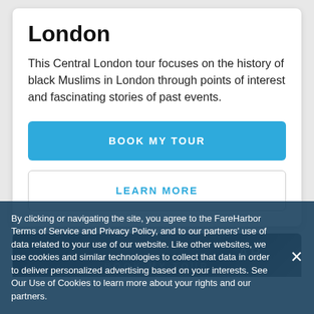London
This Central London tour focuses on the history of black Muslims in London through points of interest and fascinating stories of past events.
BOOK MY TOUR
LEARN MORE
[Figure (photo): Partial photo strip of a London street scene with dark overlay, partially obscured by cookie banner]
By clicking or navigating the site, you agree to the FareHarbor Terms of Service and Privacy Policy, and to our partners' use of data related to your use of our website. Like other websites, we use cookies and similar technologies to collect that data in order to deliver personalized advertising based on your interests. See Our Use of Cookies to learn more about your rights and our partners.